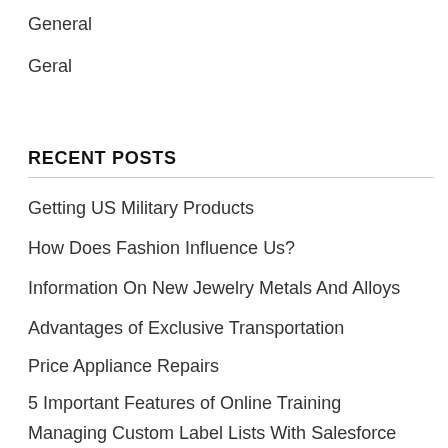General
Geral
RECENT POSTS
Getting US Military Products
How Does Fashion Influence Us?
Information On New Jewelry Metals And Alloys
Advantages of Exclusive Transportation
Price Appliance Repairs
5 Important Features of Online Training
Managing Custom Label Lists With Salesforce Mobile Platform